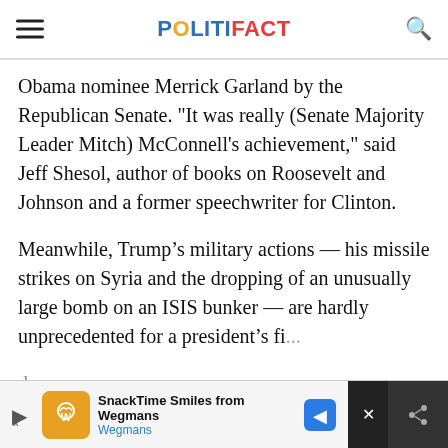POLITIFACT
Obama nominee Merrick Garland by the Republican Senate. "It was really (Senate Majority Leader Mitch) McConnell's achievement," said Jeff Shesol, author of books on Roosevelt and Johnson and a former speechwriter for Clinton.
Meanwhile, Trump’s military actions –– his missile strikes on Syria and the dropping of an unusually large bomb on an ISIS bunker –– are hardly unprecedented for a president’s fi... days. ... to en... ...red to